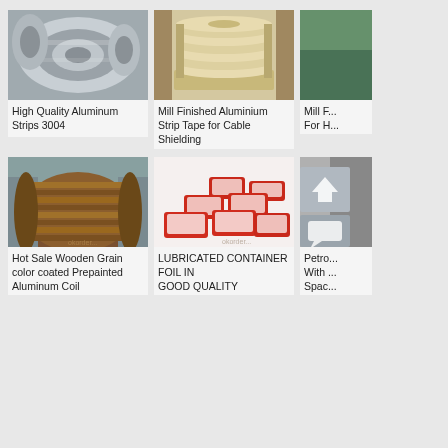[Figure (photo): Aluminum strip coils, shiny metallic surface, stacked rolls]
High Quality Aluminum Strips 3004
[Figure (photo): Stack of mill finished aluminium strip tape discs on pallet]
Mill Finished Aluminium Strip Tape for Cable Shielding
[Figure (photo): Partial view of green colored coil product]
Mill F... For H...
[Figure (photo): Hot sale wooden grain color coated prepainted aluminum coil roll]
Hot Sale Wooden Grain color coated Prepainted Aluminum Coil
[Figure (photo): Lubricated container foil trays, red aluminum trays with white inner coating]
LUBRICATED CONTAINER FOIL IN GOOD QUALITY
[Figure (photo): Partial photo with upload icon overlay, industrial product]
Petro... With ... Spac...